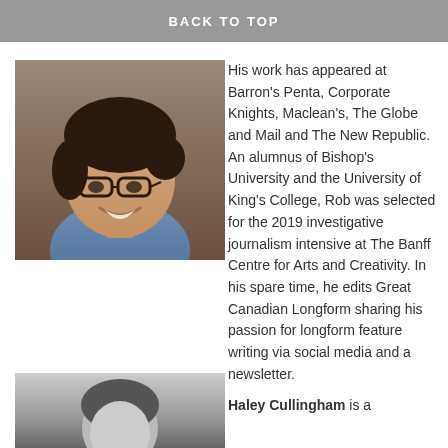BACK TO TOP
currently based in Saint John, New Brunswick.
[Figure (photo): Portrait photo of Rob, a young man with dark hair and glasses, wearing a blue denim shirt, smiling.]
His work has appeared at Barron's Penta, Corporate Knights, Maclean's, The Globe and Mail and The New Republic. An alumnus of Bishop's University and the University of King's College, Rob was selected for the 2019 investigative journalism intensive at The Banff Centre for Arts and Creativity. In his spare time, he edits Great Canadian Longform sharing his passion for longform feature writing via social media and a newsletter.
[Figure (photo): Black and white portrait photo of Haley Cullingham, partially visible.]
Haley Cullingham is a